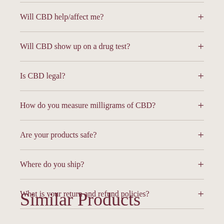Will CBD help/affect me?
Will CBD show up on a drug test?
Is CBD legal?
How do you measure milligrams of CBD?
Are your products safe?
Where do you ship?
What is your return and refund policies?
Similar Products